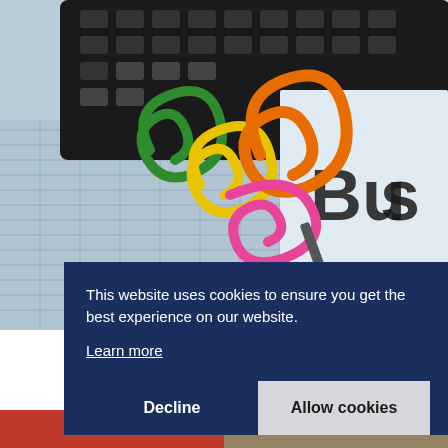[Figure (photo): Close-up photo of colorful paper clips (green, yellow, orange, pink) on a spreadsheet/ledger with a black calculator and pen in the background. The word 'BUS' is partially visible on a document.]
This website uses cookies to ensure you get the best experience on our website.
Learn more
Decline
Allow cookies
Parliament